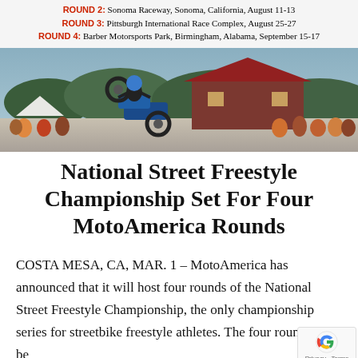ROUND 2: Sonoma Raceway, Sonoma, California, August 11-13
ROUND 3: Pittsburgh International Race Complex, August 25-27
ROUND 4: Barber Motorsports Park, Birmingham, Alabama, September 15-17
[Figure (photo): Motorcyclist performing a wheelie stunt in front of crowd and a red-roofed shed building, with green tree hills in background]
National Street Freestyle Championship Set For Four MotoAmerica Rounds
COSTA MESA, CA, MAR. 1 – MotoAmerica has announced that it will host four rounds of the National Street Freestyle Championship, the only championship series for streetbike freestyle athletes. The four rounds will be